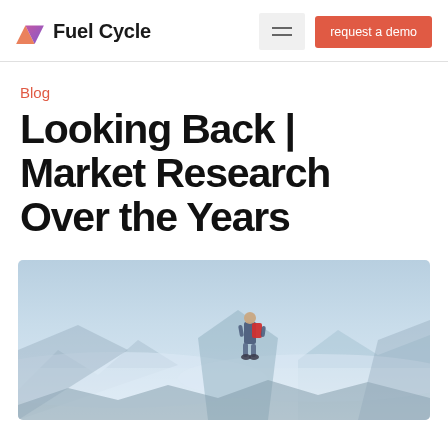Fuel Cycle | request a demo
Blog
Looking Back | Market Research Over the Years
[Figure (photo): A person with a red backpack standing on a mountain peak above clouds, looking out at a dramatic mountain landscape with misty valleys below and blue sky above.]